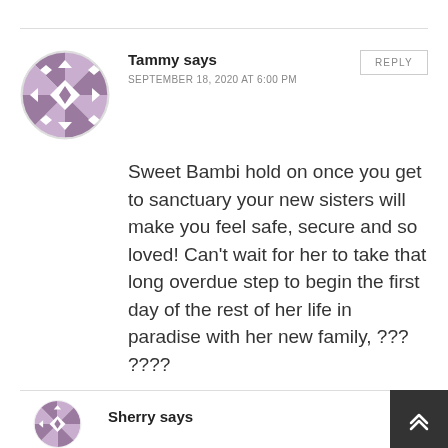[Figure (illustration): Circular avatar with purple/mauve quilt-pattern design for user Tammy]
Tammy says
SEPTEMBER 18, 2020 AT 6:00 PM
REPLY
Sweet Bambi hold on once you get to sanctuary your new sisters will make you feel safe, secure and so loved! Can't wait for her to take that long overdue step to begin the first day of the rest of her life in paradise with her new family, ??? ????
[Figure (illustration): Partial circular avatar with purple/mauve quilt-pattern design for user Sherry]
Sherry says